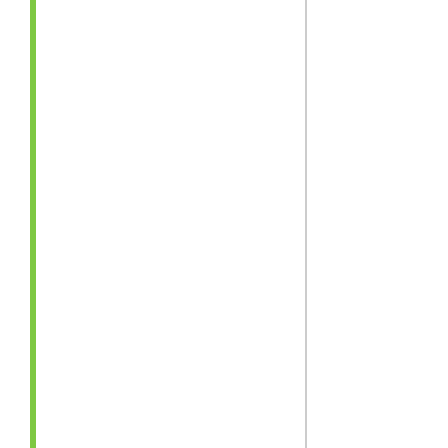for attaching to a project or account manager the manager would crash. The URL would have to be longer than 1024 bytes.
Please report test results to http://boinc.berkeley.edu/alpha. Please report bugs to the boinc_alpha@ssl.berkeley.edu email list.
Thanks in advance.
----- Rom
Disclaimer
On development versions of BOINC:
- Expect parts of it to be broken, or in the least to work in a different way than you